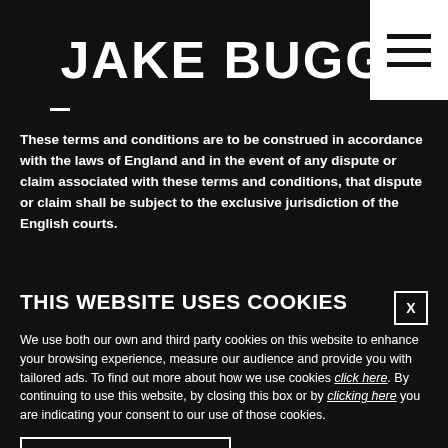JAKE BUGG
These terms and conditions are to be construed in accordance with the laws of England and in the event of any dispute or claim associated with these terms and conditions, that dispute or claim shall be subject to the exclusive jurisdiction of the English courts.
THIS WEBSITE USES COOKIES
We use both our own and third party cookies on this website to enhance your browsing experience, measure our audience and provide you with tailored ads. To find out more about how we use cookies click here. By continuing to use this website, by closing this box or by clicking here you are indicating your consent to our use of those cookies.
ACCEPT COOKIES